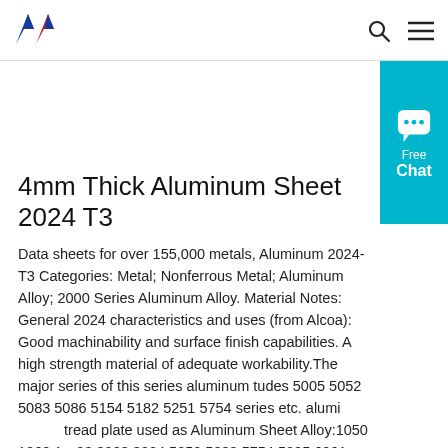AW logo, search icon, menu icon
4mm Thick Aluminum Sheet 2024 T3
Data sheets for over 155,000 metals, Aluminum 2024-T3 Categories: Metal; Nonferrous Metal; Aluminum Alloy; 2000 Series Aluminum Alloy. Material Notes: General 2024 characteristics and uses (from Alcoa): Good machinability and surface finish capabilities. A high strength material of adequate workability.The major series of this series aluminum tudes 5005 5052 5083 5086 5154 5182 5251 5754 series etc. aluminum tread plate used as Aluminum Sheet Alloy:1050 1060 1100 3003 3004 5052 5083 5754 5005 6061 8011, Temper:H14,H16,H18,H24,H22,H26,H32,H34,F,T6,H111 Thickness.0mm Width:100 It does not form or weld as well as
[Figure (illustration): Free Chat widget (teal/cyan button) on right side with speech bubble icon and 'Free Chat' text]
[Figure (illustration): Gray scroll-to-top circular button with upward chevron arrow]